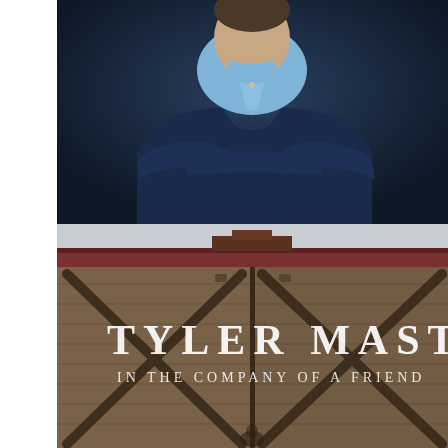[Figure (photo): Portrait photo of a man wearing a dark navy v-neck sweater over a light blue collared shirt, arms crossed, against a dark blue/grey background. Upper body/torso visible.]
[Figure (photo): Album cover image: wooden barn doors with cross-bracing pattern in brown tones. Red roof trim visible at top. White serif text overlaid reads 'TYLER MAST' in large letters and 'IN THE COMPANY OF A FRIEND' in smaller letters beneath. A small figure visible at bottom center.]